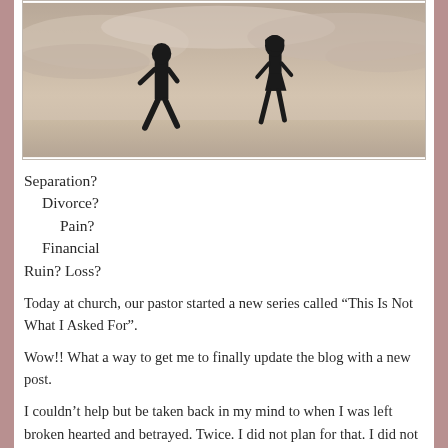[Figure (photo): Sepia-toned silhouette photo of two people (a man and a woman) walking apart from each other on a beach or open landscape, with a moody cloudy background.]
Separation?
  Divorce?
    Pain?
  Financial
Ruin? Loss?
Today at church, our pastor started a new series called “This Is Not What I Asked For”.
Wow!! What a way to get me to finally update the blog with a new post.
I couldn’t help but be taken back in my mind to when I was left broken hearted and betrayed. Twice. I did not plan for that. I did not want that. I did not ask for that.